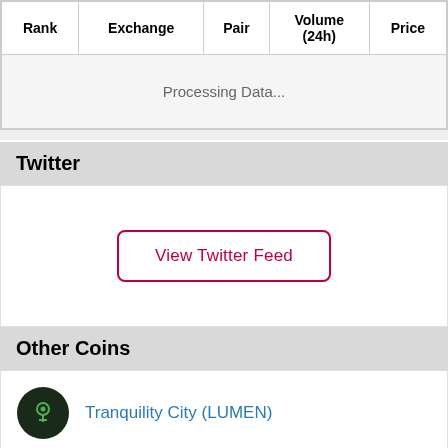| Rank | Exchange | Pair | Volume (24h) | Price |
| --- | --- | --- | --- | --- |
| Processing Data... |
Twitter
[Figure (other): Twitter feed widget with a 'View Twitter Feed' button]
Other Coins
Tranquility City (LUMEN)